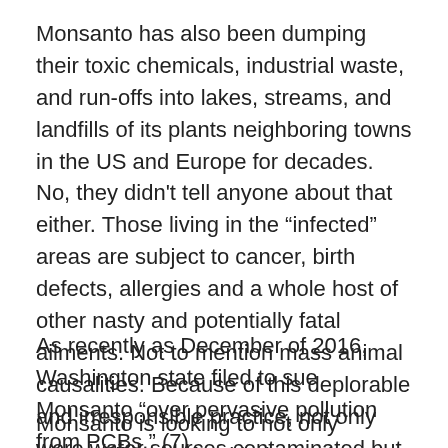Monsanto has also been dumping their toxic chemicals, industrial waste, and run-offs into lakes, streams, and landfills of its plants neighboring towns in the US and Europe for decades. No, they didn't tell anyone about that either. Those living in the “infected” areas are subject to cancer, birth defects, allergies and a whole host of other nasty and potentially fatal ailments. Not to mention mass animal causalities. Because of this deplorable and irresponsible practice, not only were water sources contaminated but the soil and air as well in the surrounding areas. (6)
As recently as December of 2016, Washington state filed to sue Monsanto “over pervasive pollution from PCBs.” (7)
Monsanto is looking to not only monopolize the food industry, but to put Mother Nature. Everyone against its